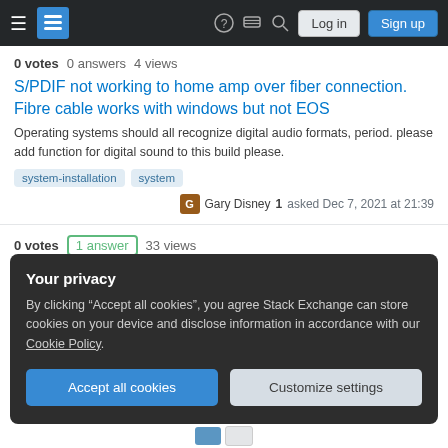Stack Exchange navigation bar with Log in and Sign up buttons
0 votes  0 answers  4 views
S/PDIF not working to home amp over fiber connection. Fibre cable works with windows but not EOS
Operating systems should all recognize digital audio formats, period. please add function for digital sound to this build please.
system-installation
system
Gary Disney 1 asked Dec 7, 2021 at 21:39
0 votes  1 answer  33 views
Elementary vanished after recent Windows Update
My first post. I had Elementary os6, dual booting on my laptop with Windows 10. All
Your privacy
By clicking "Accept all cookies", you agree Stack Exchange can store cookies on your device and disclose information in accordance with our Cookie Policy.
Accept all cookies
Customize settings